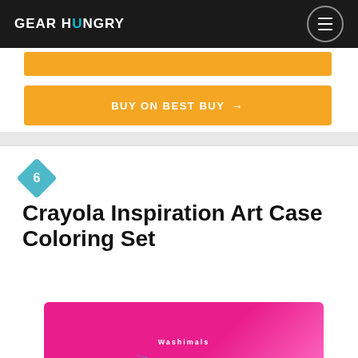GEARHUNGRY
[Figure (screenshot): Partially visible orange button at top of card]
BUY ON BEST BUY →
6 Crayola Inspiration Art Case Coloring Set
[Figure (photo): Crayola Washimals product box with pink background, colorful toy animals, blue curved element, partially visible at bottom of page]